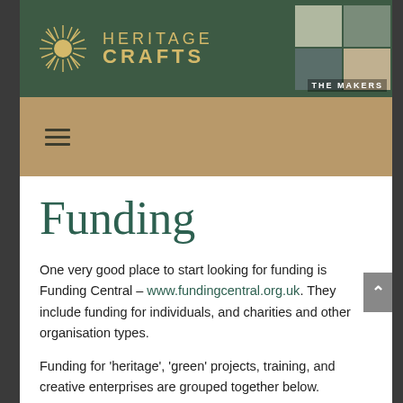HERITAGE CRAFTS
[Figure (logo): Heritage Crafts logo with sunburst and text, The Makers photo grid in top right]
[Figure (infographic): Hamburger navigation menu icon on tan/gold background bar]
Funding
One very good place to start looking for funding is Funding Central – www.fundingcentral.org.uk. They include funding for individuals, and charities and other organisation types.
Funding for ‘heritage’, ‘green’ projects, training, and creative enterprises are grouped together below.